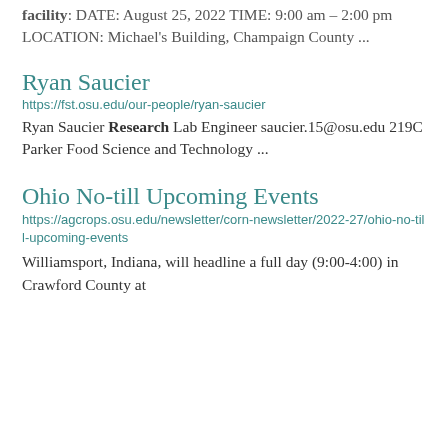facility: DATE: August 25, 2022 TIME: 9:00 am – 2:00 pm LOCATION: Michael's Building, Champaign County ...
Ryan Saucier
https://fst.osu.edu/our-people/ryan-saucier
Ryan Saucier Research Lab Engineer saucier.15@osu.edu 219C Parker Food Science and Technology ...
Ohio No-till Upcoming Events
https://agcrops.osu.edu/newsletter/corn-newsletter/2022-27/ohio-no-till-upcoming-events
Williamsport, Indiana, will headline a full day (9:00-4:00) in Crawford County at